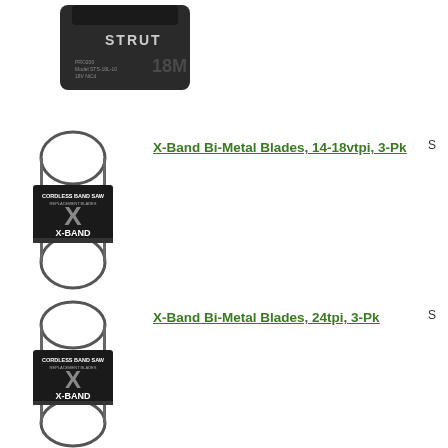[Figure (photo): STRUT brand cordless band saw battery/tool in dark case, labeled 18M]
[Figure (photo): X-Band Bi-Metal Blades product package for cordless band saw, 14-18vtpi, 3-pack]
X-Band Bi-Metal Blades, 14-18vtpi, 3-Pk
[Figure (photo): X-Band Bi-Metal Blades product package for cordless band saw, 24tpi, 3-pack]
X-Band Bi-Metal Blades, 24tpi, 3-Pk